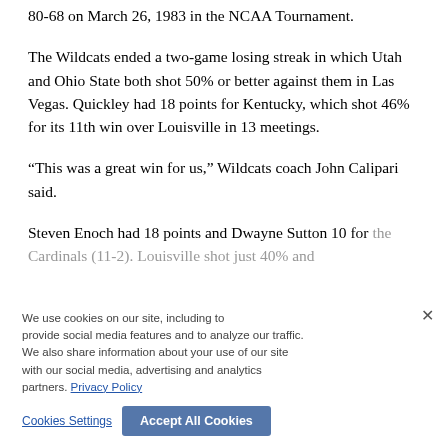80-68 on March 26, 1983 in the NCAA Tournament.
The Wildcats ended a two-game losing streak in which Utah and Ohio State both shot 50% or better against them in Las Vegas. Quickley had 18 points for Kentucky, which shot 46% for its 11th win over Louisville in 13 meetings.
“This was a great win for us,” Wildcats coach John Calipari said.
Steven Enoch had 18 points and Dwayne Sutton 10 for the Cardinals (11-2). Louisville shot just 40% and made just 9 of 9 in overtime. The Cards were also dreadful from the line, making just 9 of 20.
“If we ring the bell from the free throw line, I think the game is different,” coach Chris Mack said. “You could probably pick out a few plays down the stretch or overtime. Make a few of those maybe the ending is different.